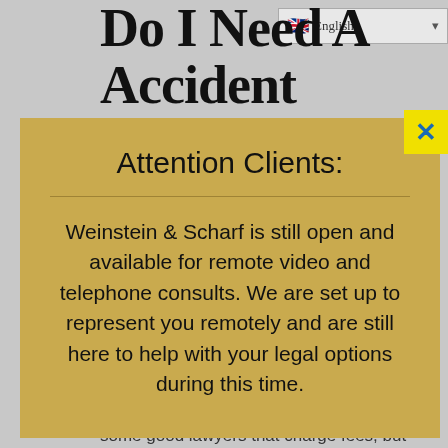Do I Need A Accident Lawyer In Fort Lauderdale?
Attention Clients:
Weinstein & Scharf is still open and available for remote video and telephone consults. We are set up to represent you remotely and are still here to help with your legal options during this time.
able to get an opinion for free. There are some good lawyers that charge fees, but